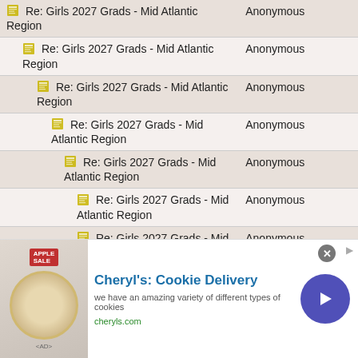| Topic | Author |
| --- | --- |
| Re: Girls 2027 Grads - Mid Atlantic Region | Anonymous |
| Re: Girls 2027 Grads - Mid Atlantic Region | Anonymous |
| Re: Girls 2027 Grads - Mid Atlantic Region | Anonymous |
| Re: Girls 2027 Grads - Mid Atlantic Region | Anonymous |
| Re: Girls 2027 Grads - Mid Atlantic Region | Anonymous |
| Re: Girls 2027 Grads - Mid Atlantic Region | Anonymous |
| Re: Girls 2027 Grads - Mid Atlantic Region | Anonymous |
[Figure (infographic): Advertisement banner for Cheryl's Cookie Delivery with image of cookies, title text, description, website URL, and navigation arrow button]